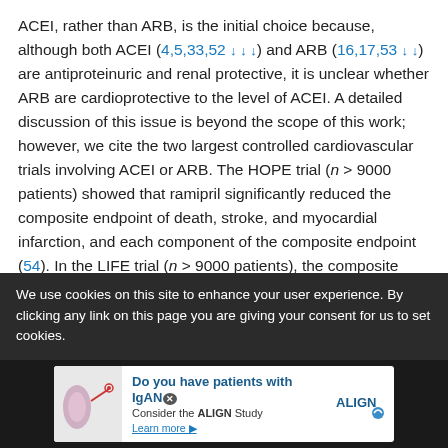ACEI, rather than ARB, is the initial choice because, although both ACEI (4,5,33,52 ↓ ↓ ↓) and ARB (16,17,53 ↓ ↓) are antiproteinuric and renal protective, it is unclear whether ARB are cardioprotective to the level of ACEI. A detailed discussion of this issue is beyond the scope of this work; however, we cite the two largest controlled cardiovascular trials involving ACEI or ARB. The HOPE trial (n > 9000 patients) showed that ramipril significantly reduced the composite endpoint of death, stroke, and myocardial infarction, and each component of the composite endpoint (54). In the LIFE trial (n > 9000 patients), the composite endpoint of death, stroke, and myocardial infarction was reduced significantly by losartan but of the individual components of the composite endpoint, only stroke was significantly reduced (55). Furthermore, in the recent OPTIMAAL trial
We use cookies on this site to enhance your user experience. By clicking any link on this page you are giving your consent for us to set cookies.
[Figure (infographic): Advertisement banner: 'Do you have patients with IgAN? Consider the ALIGN Study. Learn more.' with kidney illustration and ALIGN logo.]